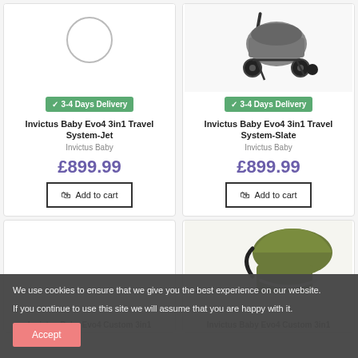[Figure (photo): Product image placeholder for Invictus Baby Evo4 3in1 Travel System - Jet (circular placeholder/logo)]
✓ 3-4 Days Delivery
Invictus Baby Evo4 3in1 Travel System-Jet
Invictus Baby
£899.99
Add to cart
[Figure (photo): Photo of Invictus Baby Evo4 3in1 Travel System - Slate color, dark grey/black stroller on white background]
✓ 3-4 Days Delivery
Invictus Baby Evo4 3in1 Travel System-Slate
Invictus Baby
£899.99
Add to cart
[Figure (photo): Empty/placeholder product image for Invictus Baby Evo4 Custom 3in1]
[Figure (photo): Photo of Invictus Baby Evo4 Custom 3in1 in olive/green color, showing canopy and seat]
Invictus Baby Evo4 Custom 3in1
Invictus Baby Evo4 Custom 3in1
We use cookies to ensure that we give you the best experience on our website.

If you continue to use this site we will assume that you are happy with it.
Accept